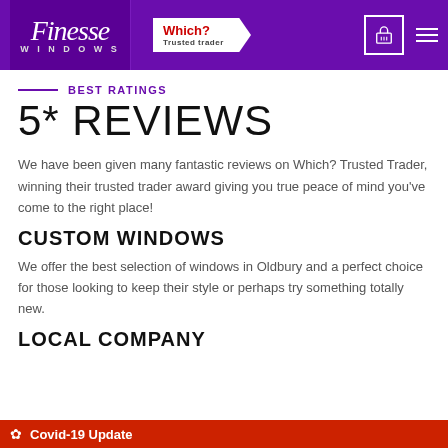[Figure (screenshot): Finesse Windows website header with purple background, script logo, Which? Trusted Trader badge, basket icon, and hamburger menu]
BEST RATINGS
5* REVIEWS
We have been given many fantastic reviews on Which? Trusted Trader, winning their trusted trader award giving you true peace of mind you've come to the right place!
CUSTOM WINDOWS
We offer the best selection of windows in Oldbury and a perfect choice for those looking to keep their style or perhaps try something totally new.
LOCAL COMPANY
Covid-19 Update